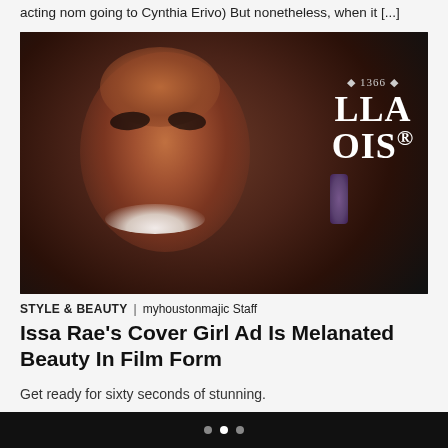acting nom going to Cynthia Erivo) But nonetheless, when it [...]
[Figure (photo): Portrait photo of Issa Rae smiling at a red carpet event, wearing sparkling earrings, with a dark background featuring a partial Stella Artois logo showing 'LLA' and 'OIS']
STYLE & BEAUTY | myhoustonmajic Staff
Issa Rae's Cover Girl Ad Is Melanated Beauty In Film Form
Get ready for sixty seconds of stunning.